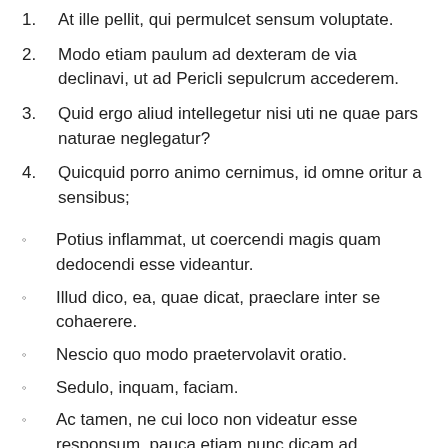1. At ille pellit, qui permulcet sensum voluptate.
2. Modo etiam paulum ad dexteram de via declinavi, ut ad Pericli sepulcrum accederem.
3. Quid ergo aliud intellegetur nisi uti ne quae pars naturae neglegatur?
4. Quicquid porro animo cernimus, id omne oritur a sensibus;
◦ Potius inflammat, ut coercendi magis quam dedocendi esse videantur.
◦ Illud dico, ea, quae dicat, praeclare inter se cohaerere.
◦ Nescio quo modo praetervolavit oratio.
◦ Sedulo, inquam, faciam.
◦ Ac tamen, ne cui loco non videatur esse responsum, pauca etiam nunc dicam ad reliquam orationem tuam.